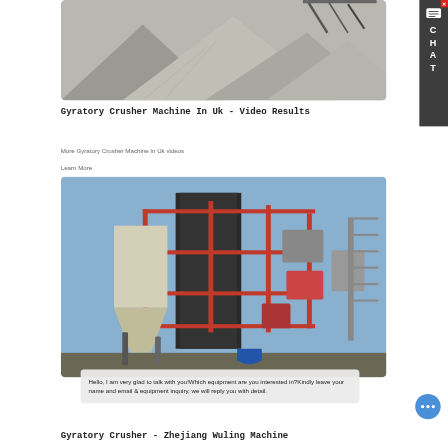[Figure (photo): Aerial view of grey gravel or crushed stone piles at a mining/quarry site, with conveyor structures visible in the background.]
Gyratory Crusher Machine In Uk - Video Results
More Gyratory Crusher Machine In Uk videos
Learn More
[Figure (photo): Industrial gyratory crusher machine plant structure with red steel framework, silos, and equipment against a blue sky.]
Hello, I am very glad to talk with you!Which equipment are you interested in?Kindly leave your name and email & equipment inquiry, we will reply you with detail.
Gyratory Crusher - Zhejiang Wuling Machine